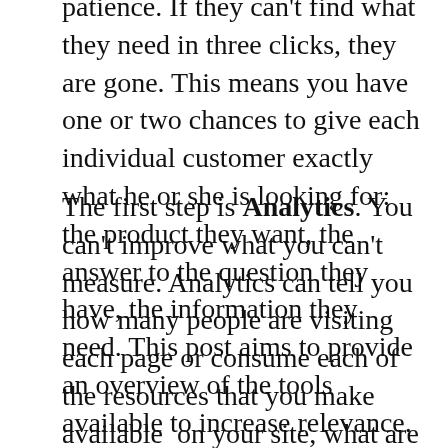patience. If they can't find what they need in three clicks, they are gone. This means you have one or two chances to give each individual customer exactly what he or she is looking for: the product they want, the answer to the question they have, the information they need. This post aims to provide an overview of the tools available to increase relevance.
The first step is Analytics. You can't improve what you can't measure. Analytics can tell you how many people are visiting each page or consume each of the resources that you make available on your site, what are the most common click-through paths, exit pages and many other useful data points. Unfortunately, most organizations don't have the people or the time to properly study the analytics data to derive business insight and to act on this insight. maybe because it is hard to show ROI for these activities outside of media and online commerce.